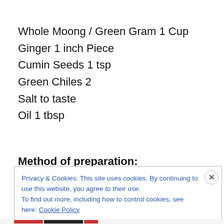Whole Moong / Green Gram 1 Cup
Ginger 1 inch Piece
Cumin Seeds 1 tsp
Green Chiles 2
Salt to taste
Oil 1 tbsp
Method of preparation:
Privacy & Cookies: This site uses cookies. By continuing to use this website, you agree to their use.
To find out more, including how to control cookies, see here: Cookie Policy
Close and accept